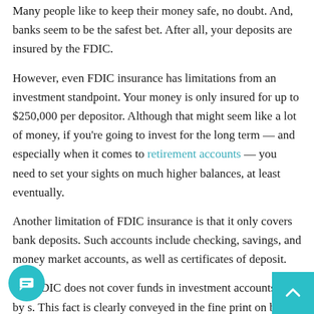Many people like to keep their money safe, no doubt. And, banks seem to be the safest bet. After all, your deposits are insured by the FDIC.
However, even FDIC insurance has limitations from an investment standpoint. Your money is only insured for up to $250,000 per depositor. Although that might seem like a lot of money, if you're going to invest for the long term — and especially when it comes to retirement accounts — you need to set your sights on much higher balances, at least eventually.
Another limitation of FDIC insurance is that it only covers bank deposits. Such accounts include checking, savings, and money market accounts, as well as certificates of deposit.
The FDIC does not cover funds in investment accounts held by s. This fact is clearly conveyed in the fine print on bank investment accounts. Stocks, bonds, mutual funds, and other